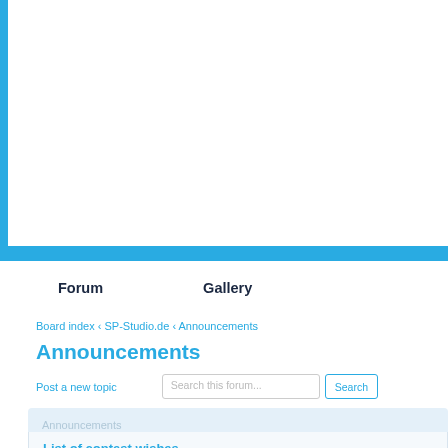[Figure (screenshot): Website header area with blue left border and blue horizontal bar at bottom]
Forum   Gallery
Board index « SP-Studio.de « Announcements
Announcements
Post a new topic
Search this forum...
Announcements
List of contest wishes
by Janina » Thu May 26, 2016 1:06 pm
I have a Patreon page now